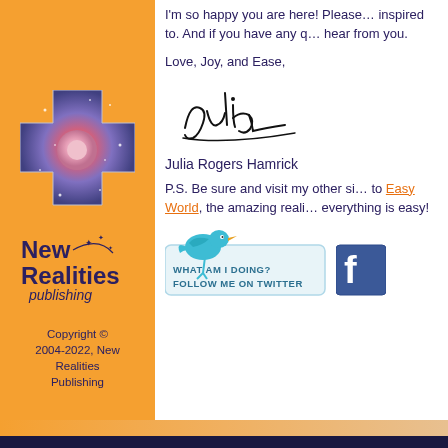I'm so happy you are here! Please… inspired to. And if you have any q… hear from you.
Love, Joy, and Ease,
[Figure (illustration): Handwritten cursive signature reading 'Julia']
Julia Rogers Hamrick
P.S. Be sure and visit my other si… to Easy World, the amazing reali… everything is easy!
[Figure (illustration): Twitter follow button with bird icon reading WHAT AM I DOING? FOLLOW ME ON TWITTER]
[Figure (illustration): Facebook icon button (partially visible)]
[Figure (illustration): Cross-shaped logo with rose and galaxy imagery on orange background]
[Figure (logo): New Realities publishing logo with star decoration]
Copyright © 2004-2022, New Realities Publishing